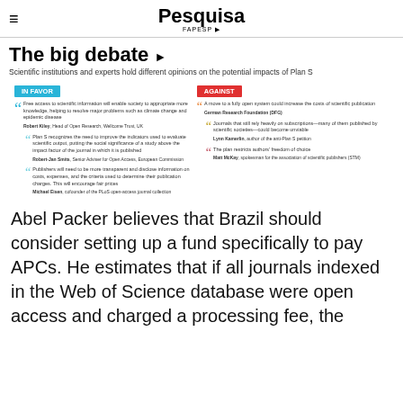Pesquisa FAPESP
The big debate
Scientific institutions and experts hold different opinions on the potential impacts of Plan S
[Figure (infographic): Debate infographic with IN FAVOR (teal) and AGAINST (red) sections. IN FAVOR quotes: Robert Kiley on free access to scientific information; Robert-Jan Smits on Plan S recognizing need to improve indicators; Michael Eisen on publisher transparency. AGAINST quotes: German Research Foundation on costs increasing; Lynn Kamerlin on journals published by scientific societies; Matt McKay on restriction of authors' freedom of choice.]
Abel Packer believes that Brazil should consider setting up a fund specifically to pay APCs. He estimates that if all journals indexed in the Web of Science database were open access and charged a processing fee, the